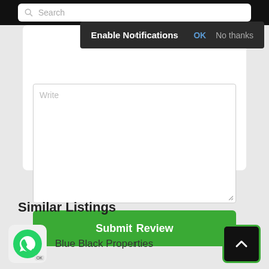[Figure (screenshot): Search bar at top with magnifying glass icon and placeholder text 'Search']
Enable Notifications   OK   No thanks
Write
Submit Review
Similar Listings
Blue Black Properties